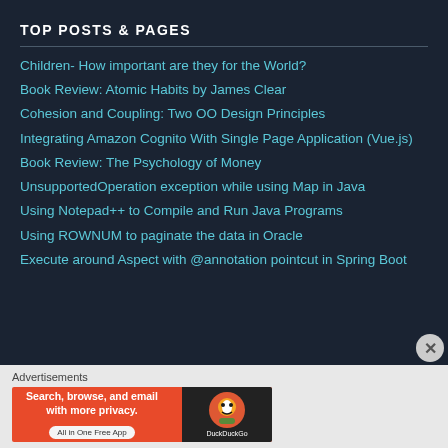TOP POSTS & PAGES
Children- How important are they for the World?
Book Review: Atomic Habits by James Clear
Cohesion and Coupling: Two OO Design Principles
Integrating Amazon Cognito With Single Page Application (Vue.js)
Book Review: The Psychology of Money
UnsupportedOperation exception while using Map in Java
Using Notepad++ to Compile and Run Java Programs
Using ROWNUM to paginate the data in Oracle
Execute around Aspect with @annotation pointcut in Spring Boot
Advertisements
[Figure (infographic): DuckDuckGo advertisement banner: 'Search, browse, and email with more privacy. All in One Free App' with DuckDuckGo logo on dark background]